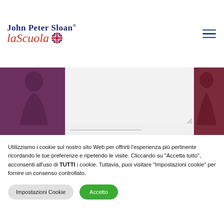John Peter Sloan la Scuola
[Figure (screenshot): Screenshot of a webpage for John Peter Sloan la Scuola language school, showing a partially visible form with a text area and decorative purple/maroon background with silhouetted figures on sides]
Utilizziamo i cookie sul nostro sito Web per offrirti l'esperienza più pertinente ricordando le tue preferenze e ripetendo le visite. Cliccando su "Accetta tutto", acconsenti all'uso di TUTTI i cookie. Tuttavia, puoi visitare "Impostazioni cookie" per fornire un consenso controllato.
Impostazioni Cookie
Accetto